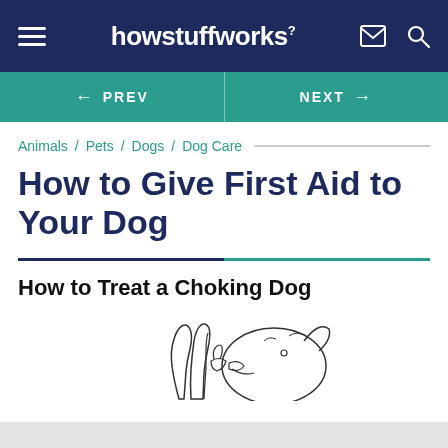howstuffworks
← PREV  |  NEXT →
Animals / Pets / Dogs / Dog Care
How to Give First Aid to Your Dog
How to Treat a Choking Dog
[Figure (illustration): Line drawing illustration of hands performing first aid on a dog's mouth/throat — treating a choking dog. Partial view, cropped at bottom of page.]